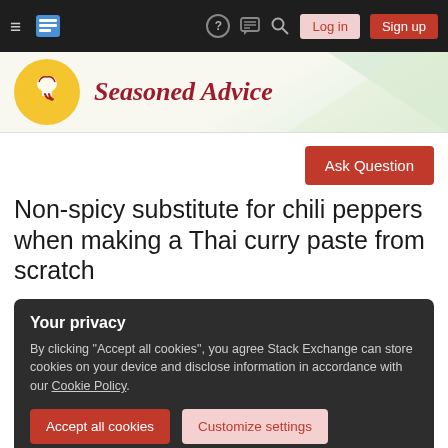Stack Exchange navigation bar with hamburger menu, logo, help, chat, search icons, Log in and Sign up buttons
[Figure (logo): Seasoned Advice site logo: yellow circle with chef hat icon and red cursive text 'Seasoned Advice' on a light green geometric background]
Ask Question
Non-spicy substitute for chili peppers when making a Thai curry paste from scratch
Your privacy
By clicking "Accept all cookies", you agree Stack Exchange can store cookies on your device and disclose information in accordance with our Cookie Policy.
Accept all cookies
Customize settings
only very little: I can put a single capsicum annuum